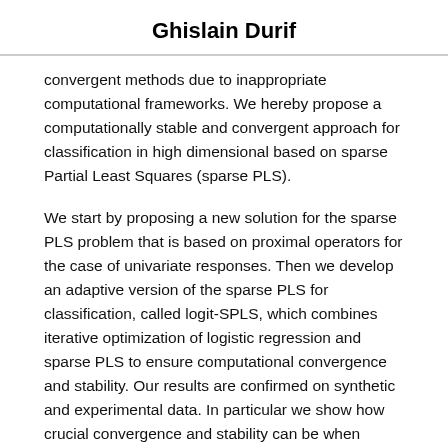Ghislain Durif
convergent methods due to inappropriate computational frameworks. We hereby propose a computationally stable and convergent approach for classification in high dimensional based on sparse Partial Least Squares (sparse PLS).
We start by proposing a new solution for the sparse PLS problem that is based on proximal operators for the case of univariate responses. Then we develop an adaptive version of the sparse PLS for classification, called logit-SPLS, which combines iterative optimization of logistic regression and sparse PLS to ensure computational convergence and stability. Our results are confirmed on synthetic and experimental data. In particular we show how crucial convergence and stability can be when cross-validation is involved for calibration purposes.